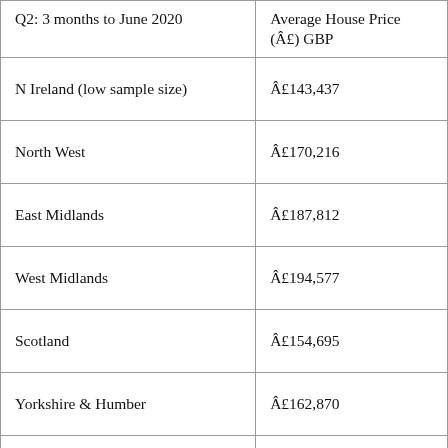| Q2: 3 months to June 2020 | Average House Price (Â£) GBP |
| --- | --- |
| N Ireland (low sample size) | Â£143,437 |
| North West | Â£170,216 |
| East Midlands | Â£187,812 |
| West Midlands | Â£194,577 |
| Scotland | Â£154,695 |
| Yorkshire & Humber | Â£162,870 |
| East Anglia | Â£230,652 |
| Wales | Â£263,089 |
| North | Â£129,505 |